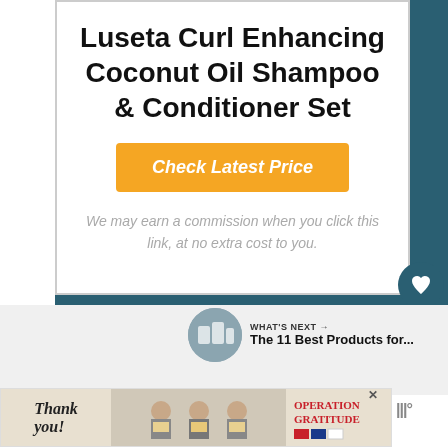Luseta Curl Enhancing Coconut Oil Shampoo & Conditioner Set
Check Latest Price
We may earn a commission when you click this link, at no extra cost to you.
WHAT'S NEXT → The 11 Best Products for...
[Figure (photo): Advertisement banner: Thank you Operation Gratitude with people holding boxes]